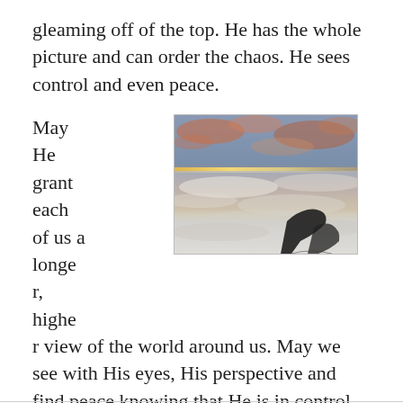gleaming off of the top. He has the whole picture and can order the chaos. He sees control and even peace.
[Figure (photo): Aerial view from airplane window showing sunset sky with orange and pink clouds above a sea of white clouds, with the airplane wing tip visible in the lower right.]
May He grant each of us a longer, higher view of the world around us. May we see with His eyes, His perspective and find peace knowing that He is in control.